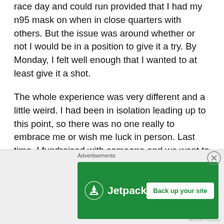race day and could run provided that I had my n95 mask on when in close quarters with others. But the issue was around whether or not I would be in a position to give it a try. By Monday, I felt well enough that I wanted to at least give it a shot.
The whole experience was very different and a little weird. I had been in isolation leading up to this point, so there was no one really to embrace me or wish me luck in person. Last time, I fundraised with someone and we went to the start line together. This time, I was all alone, fairly nervous that things might fall apart for me or god forbid that I might have a medical issue trying to
Advertisements
[Figure (screenshot): Jetpack advertisement banner on green background with 'Back up your site' button]